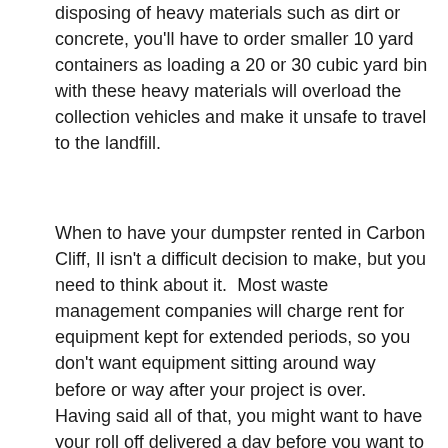disposing of heavy materials such as dirt or concrete, you'll have to order smaller 10 yard containers as loading a 20 or 30 cubic yard bin with these heavy materials will overload the collection vehicles and make it unsafe to travel to the landfill.
When to have your dumpster rented in Carbon Cliff, Il isn't a difficult decision to make, but you need to think about it.  Most waste management companies will charge rent for equipment kept for extended periods, so you don't want equipment sitting around way before or way after your project is over.  Having said all of that, you might want to have your roll off delivered a day before you want to start filling it.  We can't always promise a particular time of day for delivery, so if you need a dumpster first thing in the morning, have it delivered the day before.
Researching your local waste management companies, their prices and their service standards is important